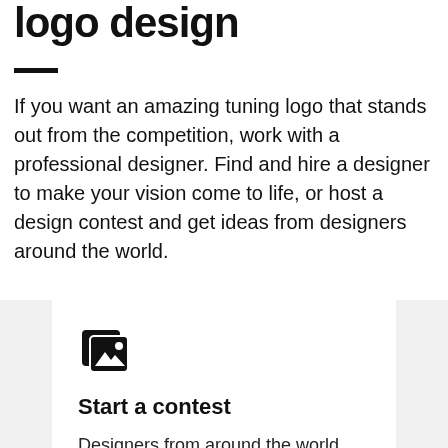logo design
If you want an amazing tuning logo that stands out from the competition, work with a professional designer. Find and hire a designer to make your vision come to life, or host a design contest and get ideas from designers around the world.
[Figure (illustration): Icon showing stacked image/photo cards symbol]
Start a contest
Designers from around the world pitch you ideas. You provide feedback, hone your favorites and choose a winner.